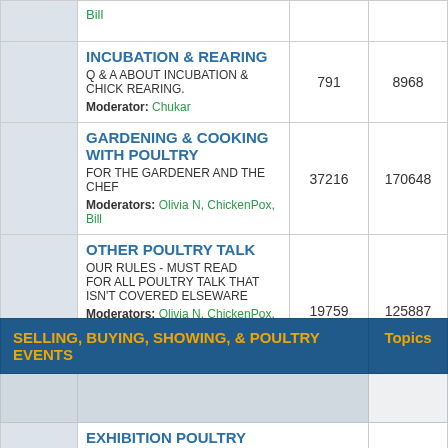|  | Forum | Topics | Posts |
| --- | --- | --- | --- |
|  | Bill |  |  |
|  | INCUBATION & REARING
Q & A ABOUT INCUBATION & CHICK REARING.
Moderator: Chukar | 791 | 8968 |
|  | GARDENING & COOKING WITH POULTRY
FOR THE GARDENER AND THE CHEF
Moderators: Olivia N, ChickenPox, Bill | 37216 | 170648 |
|  | OTHER POULTRY TALK
OUR RULES - MUST READ
FOR ALL POULTRY TALK THAT ISN'T COVERED ELSEWARE
Moderators: Olivia N, ChickenPox, Bill
Subforum: TERMS & CONDITIONS (OUR RULES) | 19759 | 125887+ |
| SELLING, BUYING, SHOWING, & POULTRY EVENTS | Topics |
| --- | --- |
|  |  |
| EXHIBITION POULTRY
INFORMATION ON SHOWING & JUDGING YOUR EXHIBITION FOWLS. FROM BEGINNER TO CHAMPION
Moderators: Weston, ChickenPox, Bill | 47249 |